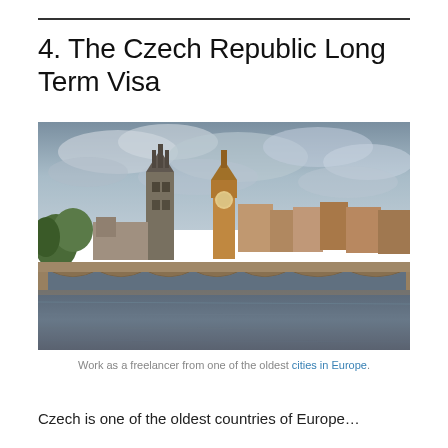4. The Czech Republic Long Term Visa
[Figure (photo): Photograph of Charles Bridge and Prague skyline with medieval towers and Gothic architecture reflected over the Vltava River under a dramatic cloudy sky.]
Work as a freelancer from one of the oldest cities in Europe.
Czech is one of the oldest countries of Europe…